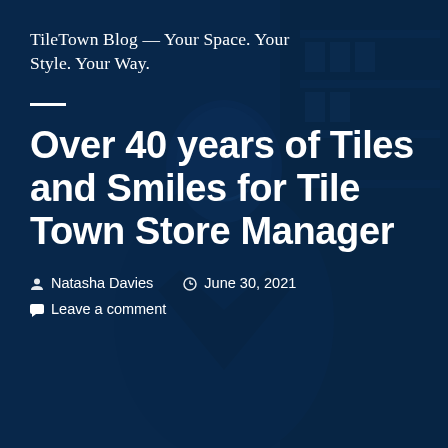[Figure (photo): Dark blue-tinted background photo of a smiling man in a suit, in what appears to be a tile store setting]
TileTown Blog — Your Space. Your Style. Your Way.
Over 40 years of Tiles and Smiles for Tile Town Store Manager
Natasha Davies   June 30, 2021
Leave a comment